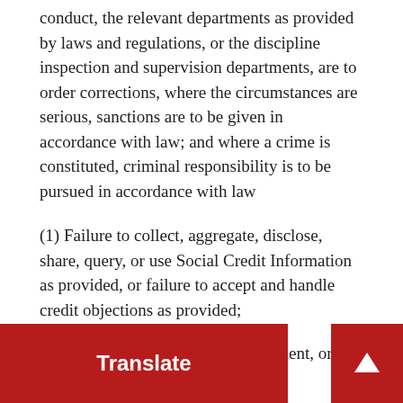conduct, the relevant departments as provided by laws and regulations, or the discipline inspection and supervision departments, are to order corrections, where the circumstances are serious, sanctions are to be given in accordance with law; and where a crime is constituted, criminal responsibility is to be pursued in accordance with law
(1) Failure to collect, aggregate, disclose, share, query, or use Social Credit Information as provided, or failure to accept and handle credit objections as provided;
(2) Alteration, fabrication, concealment, or improper deletion of Social Credit Information;
(3) Leaking Social Credit Information without authorization to make it public;
(4) Leaking Social Credit Information related to state secrets and personal privacy;
(5) providing Social Credit Information to